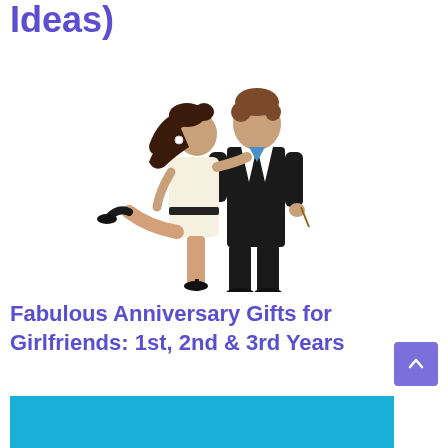Ideas)
[Figure (illustration): Cartoon illustration of a couple: a woman in a white dress kissing a man in a black suit on the cheek, with the woman lifting one leg behind her.]
Fabulous Anniversary Gifts for Girlfriends: 1st, 2nd & 3rd Years
[Figure (other): Blue banner/image partially visible at the bottom of the page]